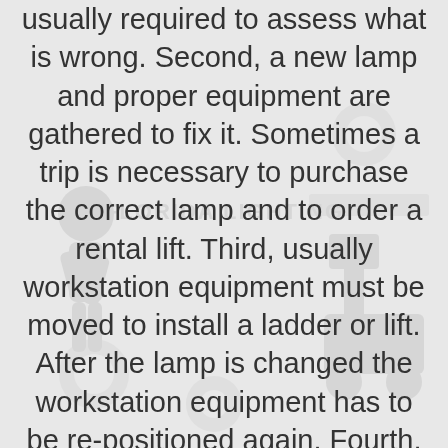usually required to assess what is wrong. Second, a new lamp and proper equipment are gathered to fix it. Sometimes a trip is necessary to purchase the correct lamp and to order a rental lift. Third, usually workstation equipment must be moved to install a ladder or lift. After the lamp is changed the workstation equipment has to be re-positioned again. Fourth, within a few days another lamp may fail and the whole process has to be repeated. All of this requires a lot of time, effects your normal operations, and raises safety